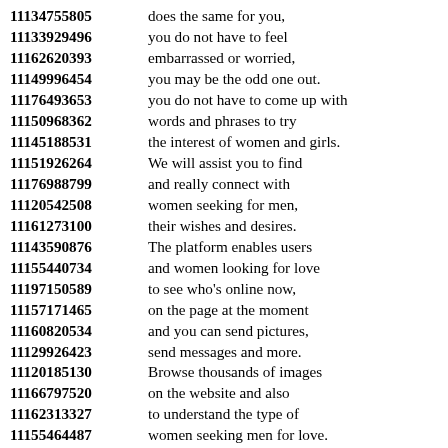11134755805 does the same for you,
11133929496 you do not have to feel
11162620393 embarrassed or worried,
11149996454 you may be the odd one out.
11176493653 you do not have to come up with
11150968362 words and phrases to try
11145188531 the interest of women and girls.
11151926264 We will assist you to find
11176988799 and really connect with
11120542508 women seeking for men,
11161273100 their wishes and desires.
11143590876 The platform enables users
11155440734 and women looking for love
11197150589 to see who's online now,
11157171465 on the page at the moment
11160820534 and you can send pictures,
11129926423 send messages and more.
11120185130 Browse thousands of images
11166797520 on the website and also
11162313327 to understand the type of
11155464487 women seeking men for love.
11116563702
11118126453 No matter your marital status,
11133844605 single women on the other
11182578756 sites are available to anyone